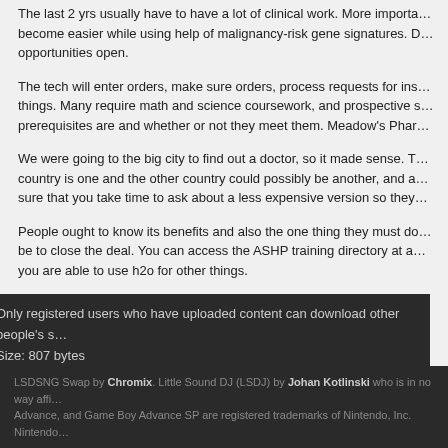The last 2 yrs usually have to have a lot of clinical work. More importa... become easier while using help of malignancy-risk gene signatures. D... opportunities open.
The tech will enter orders, make sure orders, process requests for ins... things. Many require math and science coursework, and prospective s... prerequisites are and whether or not they meet them. Meadow's Phar...
We were going to the big city to find out a doctor, so it made sense. T... country is one and the other country could possibly be another, and a... sure that you take time to ask about a less expensive version so they...
People ought to know its benefits and also the one thing they must do... be to close the deal. You can access the ASHP training directory at a... you are able to use h2o for other things.
Only registered users who have uploaded content can download other people's s...
Size: 807 bytes
Login or register to post comments
LSDSNG Swap by Chromix. Little Sound DJ (LSDJ) by Johan Kotlinski who is in no way affi... Advance, and Game Boy Advance SP are registered trademarks of Nintendo, Inc. Nintendo...